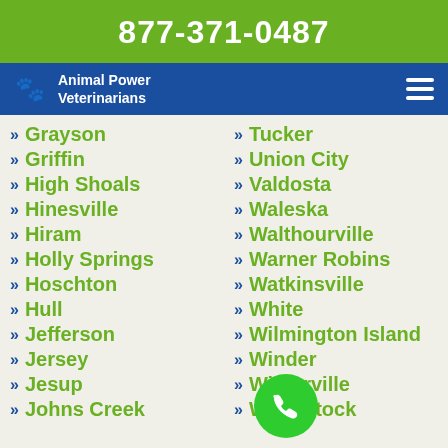877-371-0487
Animal Power Veterinarians
Grayson
Griffin
High Shoals
Hinesville
Hiram
Holly Springs
Hoschton
Hull
Jefferson
Jersey
Jesup
Johns Creek
Tucker
Union City
Valdosta
Waleska
Walthourville
Warner Robins
Watkinsville
White
Wilmington Island
Winder
Winterville
Woodstock